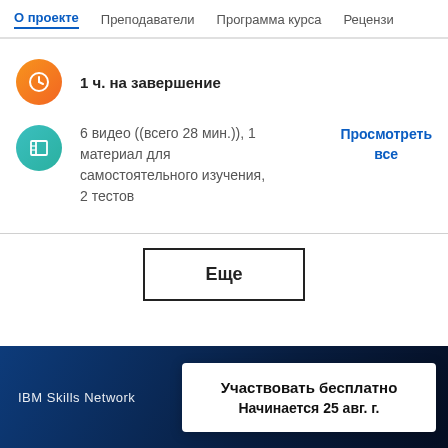О проекте   Преподаватели   Программа курса   Рецензии
1 ч. на завершение
6 видео ((всего 28 мин.)), 1 материал для самостоятельного изучения, 2 тестов
Просмотреть все
Еще
IBM Skills Network
Участвовать бесплатно
Начинается 25 авг. г.